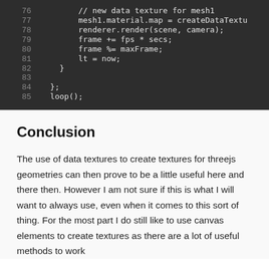76    // new data texture for mesh1
77    mesh1.material.map = createDataTextu
78    renderer.render(scene, camera);
79    frame += fps * secs;
80    frame %= maxFrame;
81    lt = now;
82    }
83
84  };
85  loop();
Conclusion
The use of data textures to create textures for threejs geometries can then prove to be a little useful here and there then. However I am not sure if this is what I will want to always use, even when it comes to this sort of thing. For the most part I do still like to use canvas elements to create textures as there are a lot of useful methods to work